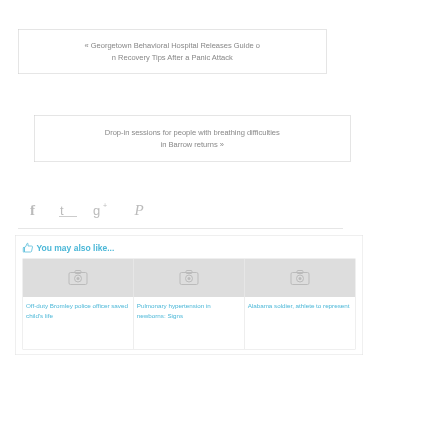« Georgetown Behavioral Hospital Releases Guide on Recovery Tips After a Panic Attack
Drop-in sessions for people with breathing difficulties in Barrow returns »
[Figure (other): Social media share icons: Facebook, Twitter, Google+, Pinterest]
👍 You may also like...
[Figure (photo): Placeholder image for Off-duty Bromley police officer saved child's life]
[Figure (photo): Placeholder image for Pulmonary hypertension in newborns: Signs]
[Figure (photo): Placeholder image for Alabama soldier, athlete to represent]
Off-duty Bromley police officer saved child's life
Pulmonary hypertension in newborns: Signs
Alabama soldier, athlete to represent